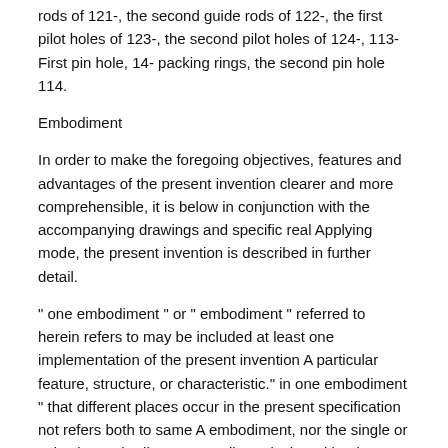rods of 121-, the second guide rods of 122-, the first pilot holes of 123-, the second pilot holes of 124-, 113- First pin hole, 14- packing rings, the second pin hole 114.
Embodiment
In order to make the foregoing objectives, features and advantages of the present invention clearer and more comprehensible, it is below in conjunction with the accompanying drawings and specific real Applying mode, the present invention is described in further detail.
" one embodiment " or " embodiment " referred to herein refers to may be included at least one implementation of the present invention A particular feature, structure, or characteristic." in one embodiment " that different places occur in the present specification not refers both to same A embodiment, nor the single or selective embodiment mutually exclusive with other embodiment.
Please refer to Fig.1 and Fig. 2, Fig. 1 be lever-type clamp of the present invention schematic front view⁠Fig. 2 is the schematic top plan view of Fig. 1. As depicted in figs. 1 and 2, the lever-type clamp includes brake plate support 2